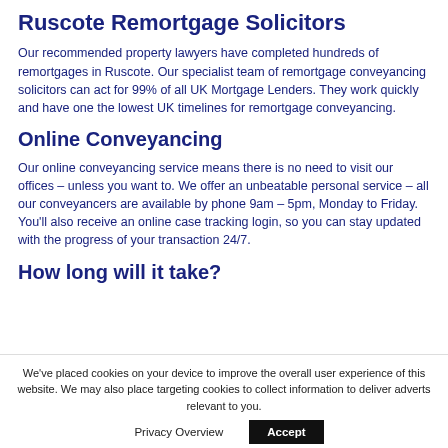Ruscote Remortgage Solicitors
Our recommended property lawyers have completed hundreds of remortgages in Ruscote. Our specialist team of remortgage conveyancing solicitors can act for 99% of all UK Mortgage Lenders. They work quickly and have one the lowest UK timelines for remortgage conveyancing.
Online Conveyancing
Our online conveyancing service means there is no need to visit our offices – unless you want to. We offer an unbeatable personal service – all our conveyancers are available by phone 9am – 5pm, Monday to Friday. You'll also receive an online case tracking login, so you can stay updated with the progress of your transaction 24/7.
How long will it take?
We've placed cookies on your device to improve the overall user experience of this website. We may also place targeting cookies to collect information to deliver adverts relevant to you.
Privacy Overview    Accept